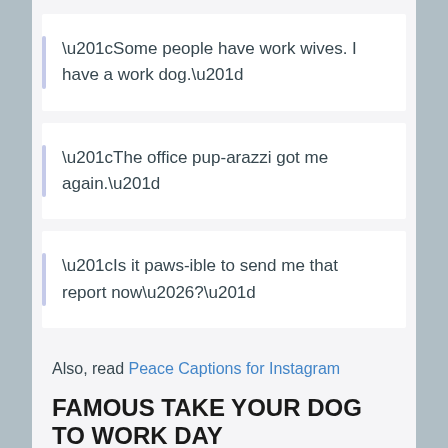“Some people have work wives. I have a work dog.”
“The office pup-arazzi got me again.”
“Is it paws-ible to send me that report now…?”
Also, read Peace Captions for Instagram
FAMOUS TAKE YOUR DOG TO WORK DAY